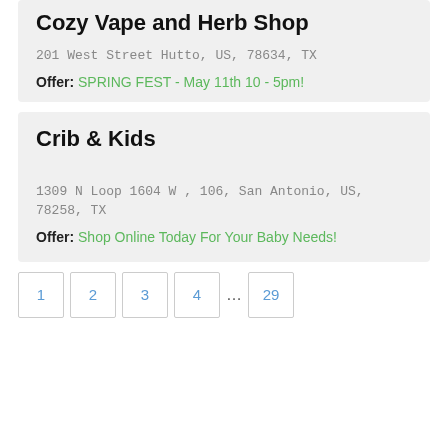Cozy Vape and Herb Shop
201 West Street Hutto, US, 78634, TX
Offer: SPRING FEST - May 11th 10 - 5pm!
Crib & Kids
1309 N Loop 1604 W , 106, San Antonio, US, 78258, TX
Offer: Shop Online Today For Your Baby Needs!
1 2 3 4 ... 29